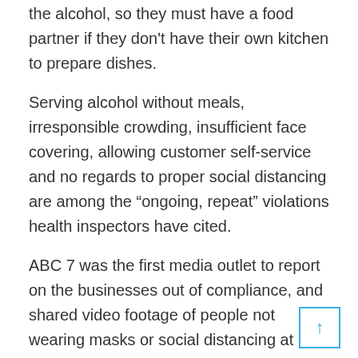the alcohol, so they must have a food partner if they don't have their own kitchen to prepare dishes.
Serving alcohol without meals, irresponsible crowding, insufficient face covering, allowing customer self-service and no regards to proper social distancing are among the “ongoing, repeat” violations health inspectors have cited.
ABC 7 was the first media outlet to report on the businesses out of compliance, and shared video footage of people not wearing masks or social distancing at El Trebol Sports Bar and Mr. Bings last week.
Here’s the complete list provided by the city.